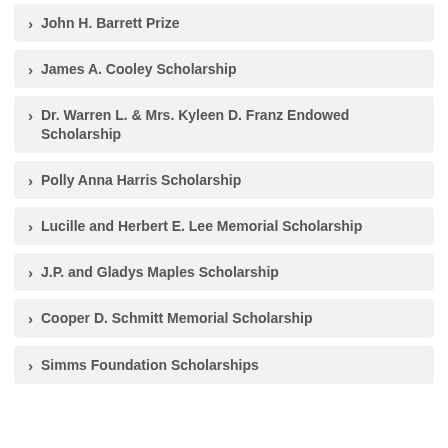John H. Barrett Prize
James A. Cooley Scholarship
Dr. Warren L. & Mrs. Kyleen D. Franz Endowed Scholarship
Polly Anna Harris Scholarship
Lucille and Herbert E. Lee Memorial Scholarship
J.P. and Gladys Maples Scholarship
Cooper D. Schmitt Memorial Scholarship
Simms Foundation Scholarships